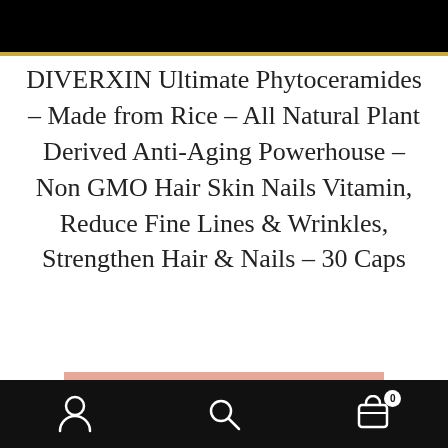[Figure (photo): Top banner image — black background with gold border at bottom, partial product image visible]
DIVERXIN Ultimate Phytoceramides – Made from Rice – All Natural Plant Derived Anti-Aging Powerhouse – Non GMO Hair Skin Nails Vitamin, Reduce Fine Lines & Wrinkles, Strengthen Hair & Nails – 30 Caps
SKIN RENEWAL FROM WITHIN
Navigation bar with user icon, search icon, and cart icon (0 items)